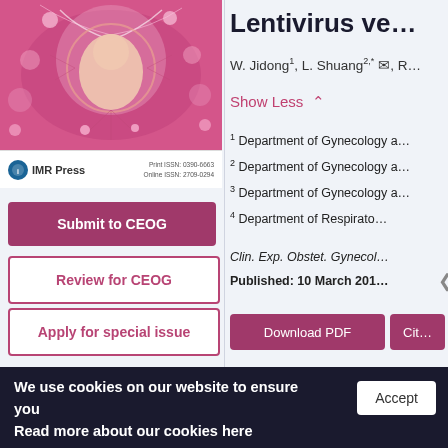[Figure (illustration): Medical journal cover image showing stylized illustration of a fetus in womb with pink floral/organic background design. IMR Press logo and ISSN numbers visible below the image.]
Submit to CEOG
Review for CEOG
Apply for special issue
Lentivirus ve...
W. Jidong1, L. Shuang2,* ✉, R...
Show Less ∧
1 Department of Gynecology a...
2 Department of Gynecology a...
3 Department of Gynecology a...
4 Department of Respirato...
Clin. Exp. Obstet. Gynecol...
Published: 10 March 201...
Download PDF
Cit...
We use cookies on our website to ensure you best experience. Read more about our cookies here